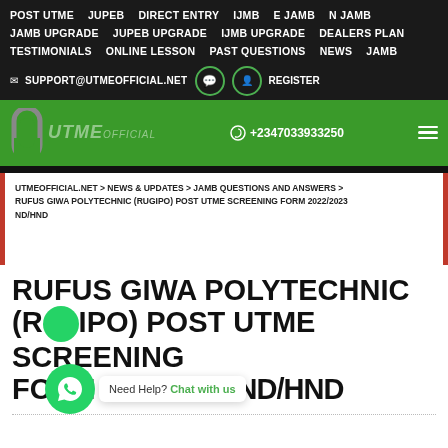POST UTME   JUPEB   DIRECT ENTRY   IJMB   E JAMB   N JAMB   JAMB UPGRADE   JUPEB UPGRADE   IJMB UPGRADE   DEALERS PLAN   TESTIMONIALS   ONLINE LESSON   PAST QUESTIONS   NEWS   JAMB
✉ SUPPORT@UTMEOFFICIAL.NET   REGISTER
[Figure (logo): UTME Official logo with green U-shaped clip icon and text, phone number +2347033933250]
UTMEOFFICIAL.NET > NEWS & UPDATES > JAMB QUESTIONS AND ANSWERS > RUFUS GIWA POLYTECHNIC (RUGIPO) POST UTME SCREENING FORM 2022/2023 ND/HND
RUFUS GIWA POLYTECHNIC (RUGIPO) POST UTME SCREENING FORM 2022/2023 ND/HND